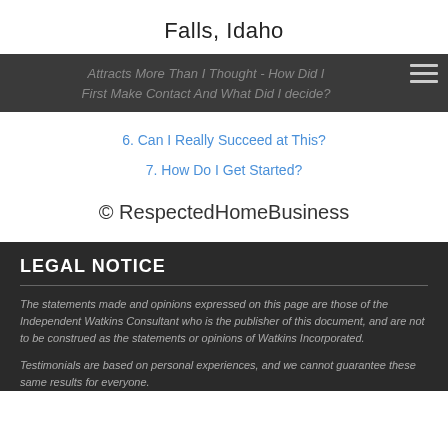Falls, Idaho
Attracts More Than I Thought - How Did I First Make Contact And What Did I decide?
6. Can I Really Succeed at This?
7. How Do I Get Started?
© RespectedHomeBusiness
LEGAL NOTICE
The statements made and opinions expressed on this page are those of the Independent Watkins Consultant who is the publisher of this document, and are not to be construed as the statements or opinions of Watkins Incorporated.
Testimonials are based on personal experiences, and we cannot guarantee these same results for everyone.